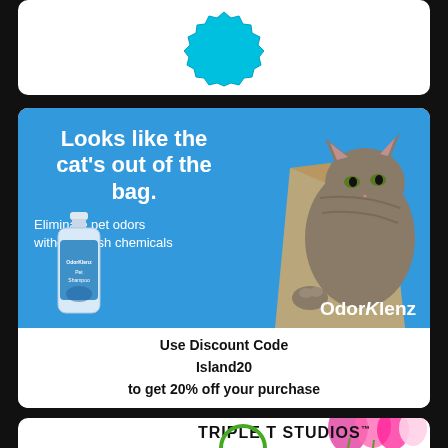[Figure (illustration): Partially visible top advertisement card with teal/cyan decorative badge element on white background]
[Figure (illustration): OdorKlenz pet shampoo advertisement. Blue background with white headline 'Looks like the cat's out of the bag.' Subtext: 'Eliminate pet odors without harsh chemicals'. Shows a kitten emerging from a paper bag and an OdorKlenz Pet Shampoo bottle. OdorKlenz logo in bottom right of blue area. Below: white panel with bold text 'Use Discount Code Island20 to get 20% off your purchase']
[Figure (illustration): Triple T Studios advertisement. Header: 'TRIPLE T STUDIOS™'. Green circular logo with tiger illustration and text 'triple-t-studios.com'. Pink/magenta tulips on right. Bold green text 'UNIQUELY DESIGNED' visible.]